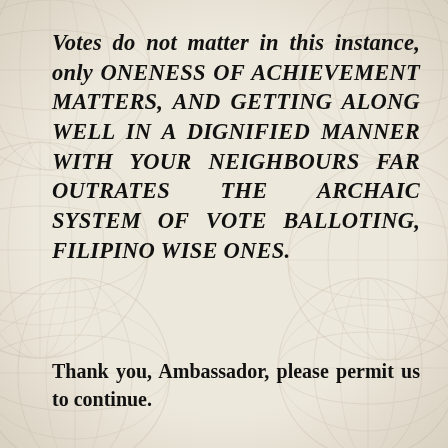Votes do not matter in this instance, only ONENESS OF ACHIEVEMENT MATTERS, AND GETTING ALONG WELL IN A DIGNIFIED MANNER WITH YOUR NEIGHBOURS FAR OUTRATES THE ARCHAIC SYSTEM OF VOTE BALLOTING, FILIPINO WISE ONES.
Thank you, Ambassador, please permit us to continue.